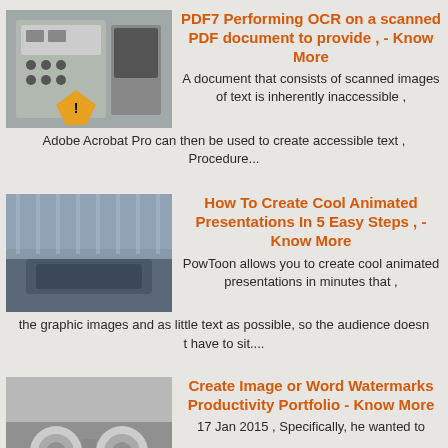[Figure (photo): Industrial control panel with buttons and warning label]
PDF7 Performing OCR on a scanned PDF document to provide , - Know More
A document that consists of scanned images of text is inherently inaccessible , Adobe Acrobat Pro can then be used to create accessible text , Procedure...
[Figure (photo): Industrial machinery or conveyor equipment in a factory]
How To Create Cool Animated Presentations In 5 Easy Steps , - Know More
PowToon allows you to create cool animated presentations in minutes that , the graphic images and as little text as possible, so the audience doesn t have to sit....
[Figure (photo): Industrial equipment with two round handles or wheels]
Create Image or Word Watermarks Productivity Portfolio - Know More
17 Jan 2015 , Specifically, he wanted to